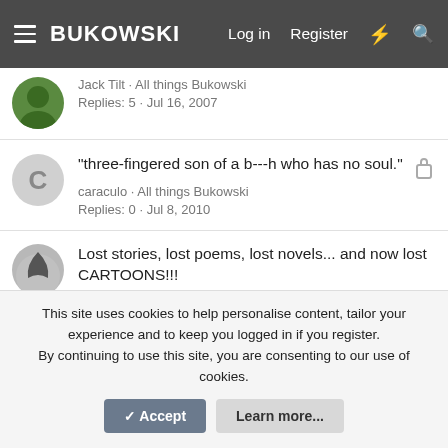BUKOWSKI — Log in | Register
Jack Tilt · All things Bukowski
Replies: 5 · Jul 16, 2007
"three-fingered son of a b---h who has no soul."
caraculo · All things Bukowski
Replies: 0 · Jul 8, 2010
Lost stories, lost poems, lost novels... and now lost CARTOONS!!!
cirerita · All things Bukowski
Replies: 12 · May 7, 2008
Instances of B crying?
westcoast · All things Bukowski
Replies: 11 · Mar 13, 2008
This site uses cookies to help personalise content, tailor your experience and to keep you logged in if you register.
By continuing to use this site, you are consenting to our use of cookies.